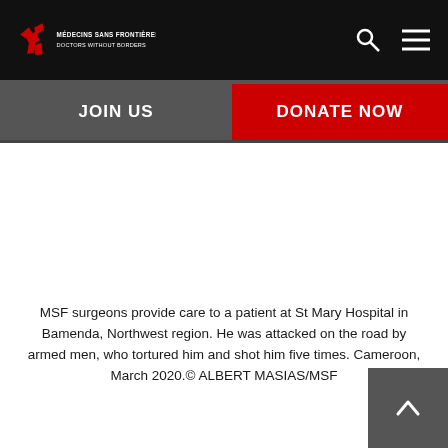[Figure (logo): Médecins Sans Frontières / Doctors Without Borders logo with red MSF symbol and white text on black background]
JOIN US
DONATE NOW
[Figure (photo): MSF surgeons providing care to a patient at St Mary Hospital — image area appears white/blank in this rendering]
MSF surgeons provide care to a patient at St Mary Hospital in Bamenda, Northwest region. He was attacked on the road by armed men, who tortured him and shot him five times. Cameroon, March 2020.© ALBERT MASIAS/MSF